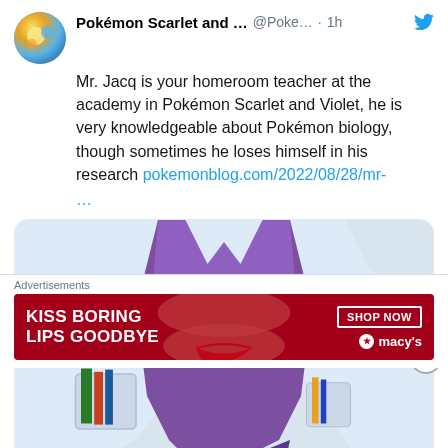Pokémon Scarlet and ... @Poke... · 1h
Mr. Jacq is your homeroom teacher at the academy in Pokémon Scarlet and Violet, he is very knowledgeable about Pokémon biology, though sometimes he loses himself in his research pokemonblog.com/2022/08/28/mr- …
[Figure (illustration): Anime-style illustration of Mr. Jacq character from Pokémon Scarlet and Violet, wearing a white lab coat over a purple shirt, holding an item in one hand, partial body view]
pokemonblog.com
Advertisements
[Figure (photo): Macy's advertisement banner with dark red background, text reading KISS BORING LIPS GOODBYE with SHOP NOW button and Macy's star logo, photo of woman's face with red lips]